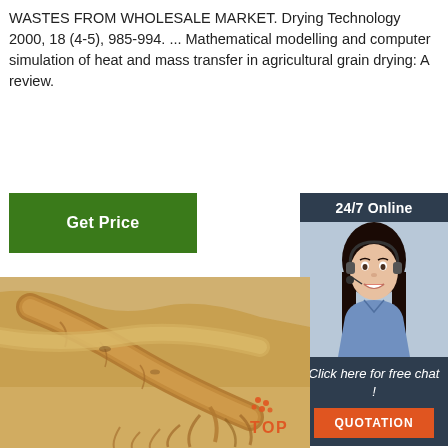WASTES FROM WHOLESALE MARKET. Drying Technology 2000, 18 (4-5), 985-994. ... Mathematical modelling and computer simulation of heat and mass transfer in agricultural grain drying: A review.
[Figure (other): Green 'Get Price' button]
[Figure (other): Chat panel with '24/7 Online' header, photo of a woman with headset, 'Click here for free chat!' text, and orange 'QUOTATION' button]
[Figure (photo): Close-up photo of ginseng roots on a wooden surface]
[Figure (logo): TOP badge/logo in lower right corner of ginseng photo]